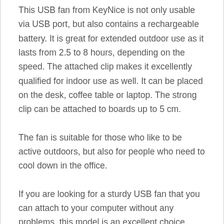This USB fan from KeyNice is not only usable via USB port, but also contains a rechargeable battery. It is great for extended outdoor use as it lasts from 2.5 to 8 hours, depending on the speed. The attached clip makes it excellently qualified for indoor use as well. It can be placed on the desk, coffee table or laptop. The strong clip can be attached to boards up to 5 cm.
The fan is suitable for those who like to be active outdoors, but also for people who need to cool down in the office.
If you are looking for a sturdy USB fan that you can attach to your computer without any problems, this model is an excellent choice.